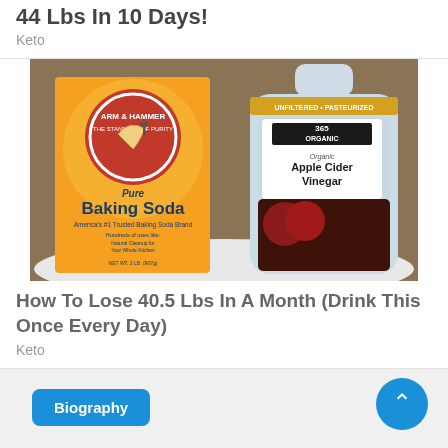44 Lbs In 10 Days!
Keto
[Figure (photo): Box of Arm & Hammer Pure Baking Soda next to a bottle of 365 Organic Apple Cider Vinegar on a white plate, with a brown background.]
How To Lose 40.5 Lbs In A Month (Drink This Once Every Day)
Keto
Biography
SeeDeng Bio, Net Worth 2022, Age,